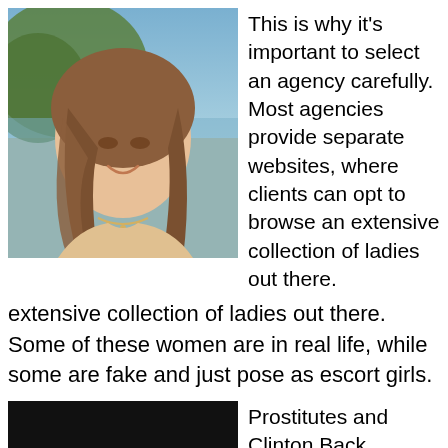[Figure (photo): Photo of a young woman with long brown hair smiling, outdoors near water and greenery.]
This is why it's important to select an agency carefully. Most agencies provide separate websites, where clients can opt to browse an extensive collection of ladies out there. Some of these women are in real life, while some are fake and just pose as escort girls.
[Figure (photo): Black redacted/censored image block.]
Prostitutes and Clinton Back